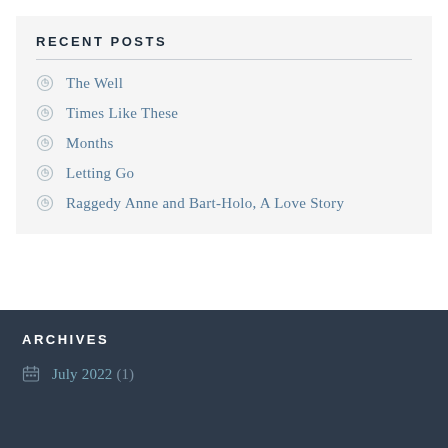RECENT POSTS
The Well
Times Like These
Months
Letting Go
Raggedy Anne and Bart-Holo, A Love Story
ARCHIVES
July 2022 (1)